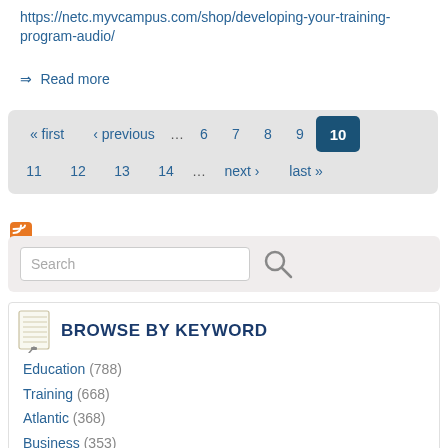https://netc.myvcampus.com/shop/developing-your-training-program-audio/
⇒ Read more
[Figure (other): Pagination navigation: « first, ‹ previous, ..., 6, 7, 8, 9, 10 (active), 11, 12, 13, 14, ..., next ›, last »]
[Figure (other): RSS feed icon (orange square with white signal waves)]
[Figure (other): Search bar with placeholder text 'Search' and magnifying glass icon, on light grey background]
BROWSE BY KEYWORD
Education (788)
Training (668)
Atlantic (368)
Business (353)
Government (298)